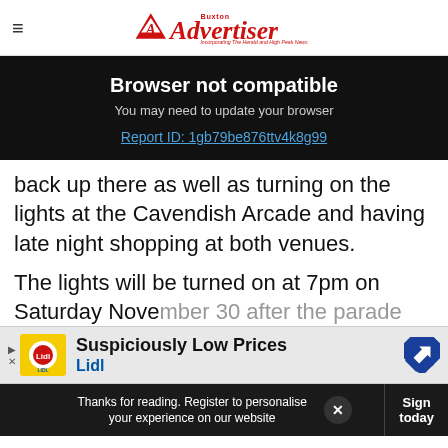Buxton Advertiser — Incorporating The Herald and High Peak News
Browser not compatible
You may need to update your browser
Report ID: 1gb79be876ttv4k8g99
back up there as well as turning on the lights at the Cavendish Arcade and having late night shopping at both venues.
The lights will be turned on at 7pm on Saturday November 30 after the parade
[Figure (other): Lidl advertisement banner: Suspiciously Low Prices, Lidl logo with yellow and blue diamond shape, blue navigation arrow icon]
Thanks for reading. Register to personalise your experience on our website | Sign today